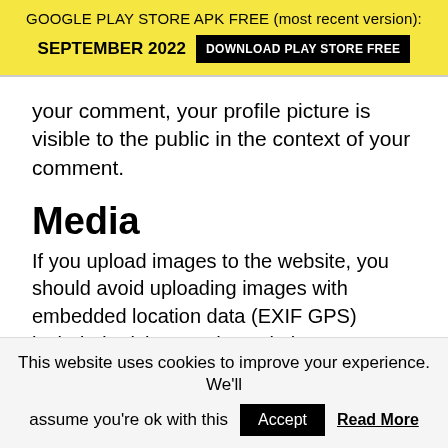GOOGLE PLAY STORE APK FREE (most recent version): SEPTEMBER 2022 DOWNLOAD PLAY STORE FREE
your comment, your profile picture is visible to the public in the context of your comment.
Media
If you upload images to the website, you should avoid uploading images with embedded location data (EXIF GPS) included. Visitors to the website can download and extract any location data from images on the website.
This website uses cookies to improve your experience. We'll assume you're ok with this  Accept  Read More